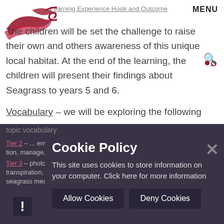Learning Experience Hook and Outcome  MENU
[Figure (logo): Decorative swirl/wave logo in dark red/maroon]
The children will be set the challenge to raise their own and others awareness of this unique local habitat. At the end of the learning, the children will present their findings about Seagrass to years 5 and 6.
Vocabulary – we will be exploring the following topic vocabulary
Tier 2 – ... environment, tion, manage, outcome...
Tier 3 – ... photosynthesis, ... classification, transpiration, pollination, seagrass, seagrass meadow, biodiversity...
Cookie Policy
This site uses cookies to store information on your computer. Click here for more information
Allow Cookies   Deny Cookies